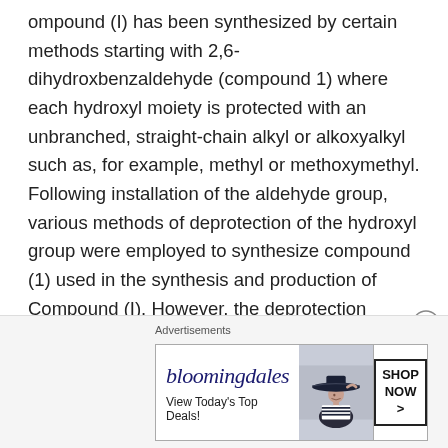ompound (I) has been synthesized by certain methods starting with 2,6-dihydroxbenzaldehyde (compound 1) where each hydroxyl moiety is protected with an unbranched, straight-chain alkyl or alkoxyalkyl such as, for example, methyl or methoxymethyl. Following installation of the aldehyde group, various methods of deprotection of the hydroxyl group were employed to synthesize compound (1) used in the synthesis and production of Compound (I). However, the deprotection processes used lead to unwanted polymerization and decomposition reactions of compound (1) – attributed, in part, to the conditions used for
[Figure (other): Bloomingdale's advertisement banner with logo, tagline 'View Today's Top Deals!', image of woman with wide-brim hat, and 'SHOP NOW >' button]